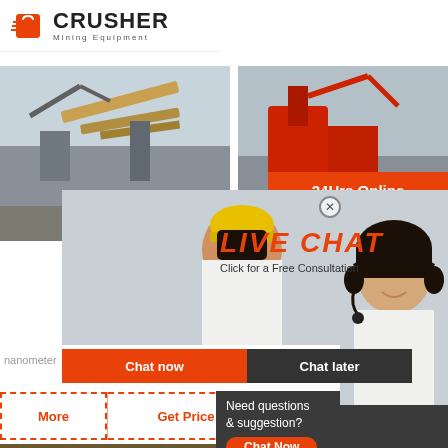[Figure (logo): Crusher Mining Equipment logo with red shopping bag icon and bold black text]
[Figure (photo): Mining equipment site with excavator and conveyor belts - left photo]
[Figure (photo): Mining equipment with red machinery - right photo]
24Hrs Online
[Figure (photo): Workers in yellow hard hats with live chat overlay panel]
LIVE CHAT
Click for a Free Consultation
[Figure (photo): Customer service agent with headset]
nanometer
Chat now
Chat later
More
Get Price
Email conta
Need questions & suggestion?
Chat Now
Enquiry
mumumugoods@gmail.com
[Figure (photo): Aerial view of mining site with trucks and excavators]